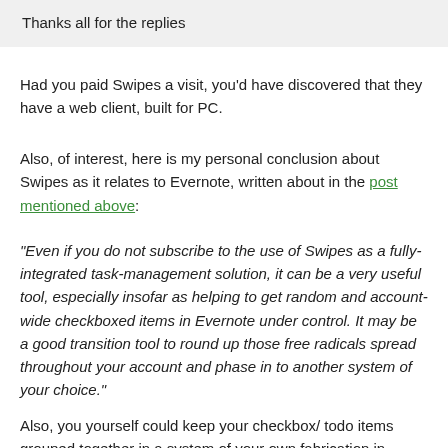Thanks all for the replies
Had you paid Swipes a visit, you'd have discovered that they have a web client, built for PC.
Also, of interest, here is my personal conclusion about Swipes as it relates to Evernote, written about in the post mentioned above:
"Even if you do not subscribe to the use of Swipes as a fully-integrated task-management solution, it can be a very useful tool, especially insofar as helping to get random and account-wide checkboxed items in Evernote under control. It may be a good transition tool to round up those free radicals spread throughout your account and phase in to another system of your choice."
Also, you yourself could keep your checkbox/ todo items grouped together in a system of your own fabrication in Evernote so that you needn't search for them at all. You might get some ideas in the Evernote series on my blog, where I string together some Kanban principles in